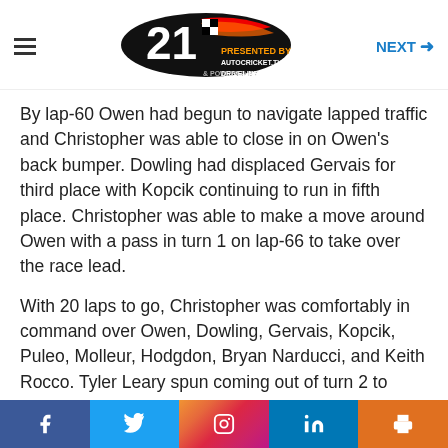NEXT →
[Figure (logo): Racing event logo with '21' and colorful race branding]
By lap-60 Owen had begun to navigate lapped traffic and Christopher was able to close in on Owen's back bumper. Dowling had displaced Gervais for third place with Kopcik continuing to run in fifth place. Christopher was able to make a move around Owen with a pass in turn 1 on lap-66 to take over the race lead.
With 20 laps to go, Christopher was comfortably in command over Owen, Dowling, Gervais, Kopcik, Puleo, Molleur, Hodgdon, Bryan Narducci, and Keith Rocco. Tyler Leary spun coming out of turn 2 to bring the caution out for the first time with 90 laps complete.